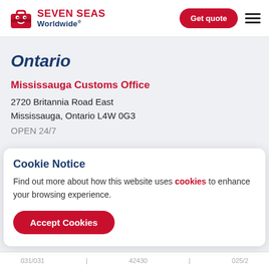[Figure (logo): Seven Seas Worldwide logo with red suitcase icon, red 'SEVEN SEAS' text, and dark blue 'Worldwide®' text]
Ontario
Mississauga Customs Office
2720 Britannia Road East
Mississauga, Ontario L4W 0G3
OPEN 24/7
Cookie Notice
Find out more about how this website uses cookies to enhance your browsing experience.
Accept Cookies